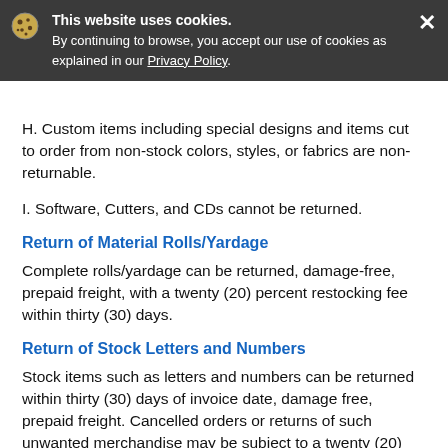the outside package and a letter enclosed explaining the procedure for exchange.
This website uses cookies. By continuing to browse, you accept our use of cookies as explained in our Privacy Policy.
H. Custom items including special designs and items cut to order from non-stock colors, styles, or fabrics are non-returnable.
I. Software, Cutters, and CDs cannot be returned.
Return of Material Rolls/Yardage
Complete rolls/yardage can be returned, damage-free, prepaid freight, with a twenty (20) percent restocking fee within thirty (30) days.
Return of Stock Letters and Numbers
Stock items such as letters and numbers can be returned within thirty (30) days of invoice date, damage free, prepaid freight. Cancelled orders or returns of such unwanted merchandise may be subject to a twenty (20) percent restocking fee plus applicable shipping charges.
Return of Pre-Cut Letters & Numbers in unopened packs, kits, or team sets must meet the following criteria: